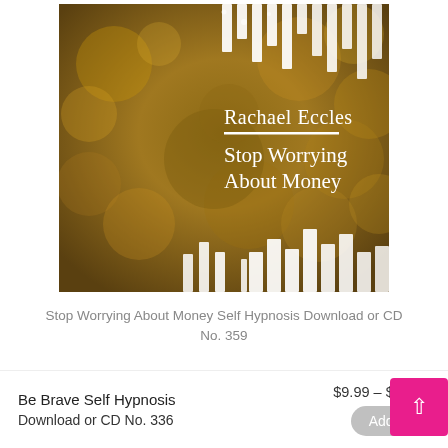[Figure (illustration): Album cover for 'Stop Worrying About Money' self hypnosis by Rachael Eccles. Gold bokeh background with white bar/audio waveform graphics at top and bottom. Text reads 'Rachael Eccles' with a white horizontal rule, then 'Stop Worrying About Money' in white serif text.]
Stop Worrying About Money Self Hypnosis Download or CD No. 359
Be Brave Self Hypnosis Download or CD No. 336
$9.99 – $15.99
Add To